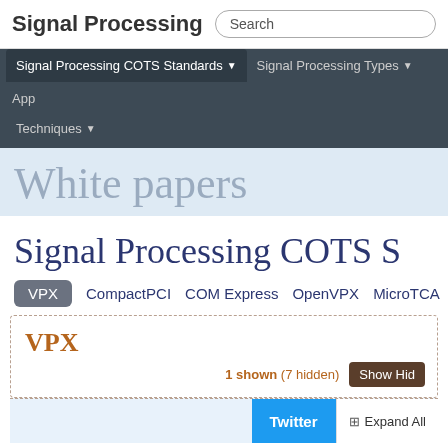Signal Processing
Search
Signal Processing COTS Standards ▼ | Signal Processing Types ▼ | App | Techniques ▼
White papers
Signal Processing COTS S
VPX
CompactPCI
COM Express
OpenVPX
MicroTCA
VPX
1 shown (7 hidden)
Show Hid
Twitter
Expand All